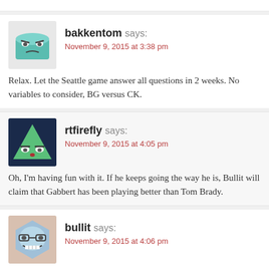[Figure (illustration): Avatar for bakkentom: cartoon cylinder with angry face]
bakkentom says:
November 9, 2015 at 3:38 pm
Relax. Let the Seattle game answer all questions in 2 weeks. No variables to consider, BG versus CK.
[Figure (illustration): Avatar for rtfirefly: cartoon triangle on dark blue background with eyes]
rtfirefly says:
November 9, 2015 at 4:05 pm
Oh, I'm having fun with it. If he keeps going the way he is, Bullit will claim that Gabbert has been playing better than Tom Brady.
[Figure (illustration): Avatar for bullit: cartoon hexagon face with glasses]
bullit says:
November 9, 2015 at 4:06 pm
Rt